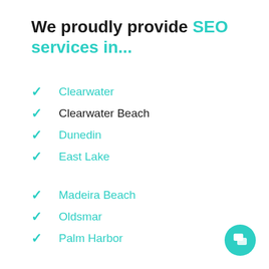We proudly provide SEO services in...
Clearwater
Clearwater Beach
Dunedin
East Lake
Madeira Beach
Oldsmar
Palm Harbor
Pinellas Park
Safety Harbor